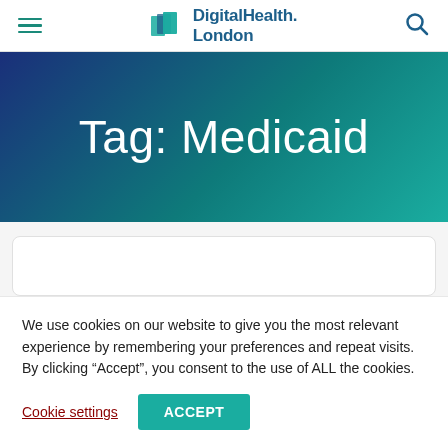DigitalHealth.London
Tag: Medicaid
We use cookies on our website to give you the most relevant experience by remembering your preferences and repeat visits. By clicking “Accept”, you consent to the use of ALL the cookies.
Cookie settings  ACCEPT